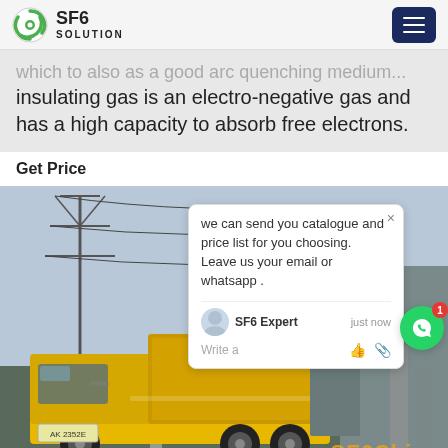SF6 SOLUTION
which to also as a good arc quenching medium... insulating gas is an electro-negative gas and has a high capacity to absorb free electrons.
Get Price
[Figure (photo): Yellow truck / service vehicle parked near electrical substation with high voltage transmission towers and industrial equipment in background. SF6 China watermark visible. Chat popup overlay visible.]